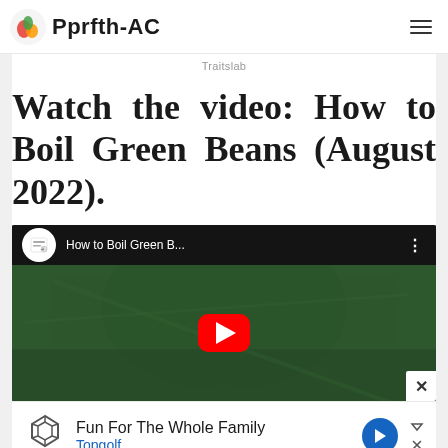Pprfth-AC
Traitslab
Watch the video: How to Boil Green Beans (August 2022).
[Figure (screenshot): YouTube video thumbnail showing 'How to Boil Green B...' with YouTube play button and channel icon]
[Figure (screenshot): Advertisement banner: Topgolf logo, 'Fun For The Whole Family', 'Topgolf' in blue, blue diamond arrow icon, play and close controls]